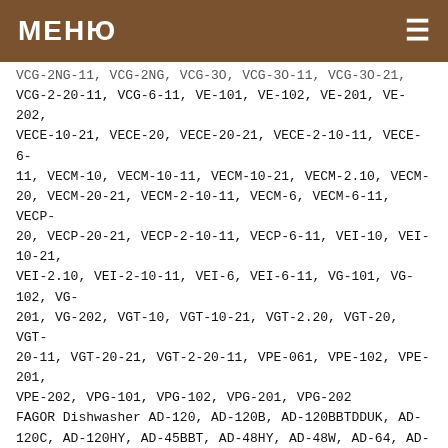МЕНЮ
VCG-2-20-11, VCG-6-11, VE-101, VE-102, VE-201, VE-202, VECE-10-21, VECE-20, VECE-20-21, VECE-2-10-11, VECE-6-11, VECM-10, VECM-10-11, VECM-10-21, VECM-2.10, VECM-20, VECM-20-21, VECM-2-10-11, VECM-6, VECM-6-11, VECP-20, VECP-20-21, VECP-2-10-11, VECP-6-11, VEI-10, VEI-10-21, VEI-2.10, VEI-2-10-11, VEI-6, VEI-6-11, VG-101, VG-102, VG-201, VG-202, VGT-10, VGT-10-21, VGT-2.20, VGT-20, VGT-20-11, VGT-20-21, VGT-2-20-11, VPE-061, VPE-102, VPE-201, VPE-202, VPG-101, VPG-102, VPG-201, VPG-202
FAGOR Dishwasher AD-120, AD-120B, AD-120BBTDDUK, AD-120C, AD-120HY, AD-45BBT, AD-48HY, AD-48W, AD-64, AD-64B, AD-64BBT, AD-64BDD, AD-64BTDD, AD-64C, AD-64CW, AD-64D, AD-64DD, AD-64HY, AD-72, AD-72W, AD-90, AD-90BA, AD-90BBT, AD-90BDD, AD-90DD, ADE-120, ADE-120B, ECO-200H, ECO-6000, FI-100AR, FI-100BBTUK, FI-120AR-DD, FI-120B, FI-120C, FI-120HY, FI-200H, FI-30, FI-